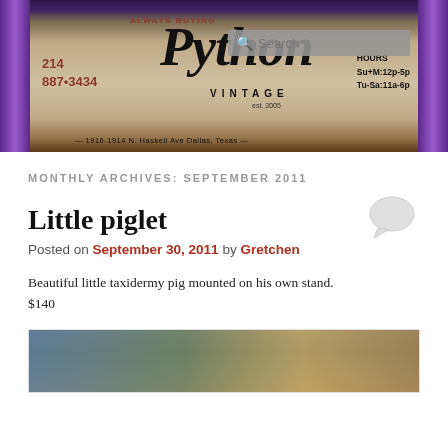[Figure (photo): Python Vintage store banner/header image showing store name, phone number 214 887-3434, hours Su+M:12p-5p Tu-Sa:11a-6p, address 1916-1914 N. Haskell Ave Dallas, Texas, with search bar overlay]
MONTHLY ARCHIVES: SEPTEMBER 2011
Little piglet
[Figure (illustration): Speech/comment bubble icon in gray]
Posted on September 30, 2011 by Gretchen
Beautiful little taxidermy pig mounted on his own stand.
$140
[Figure (photo): Interior photo of the vintage store showing various items]